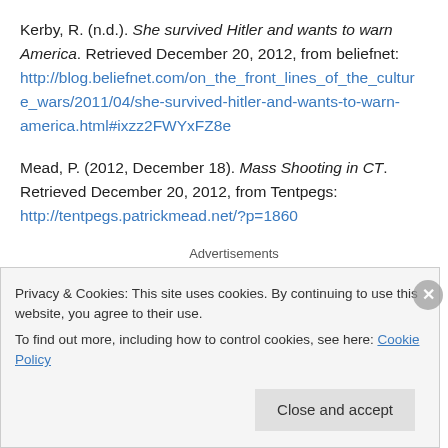Kerby, R. (n.d.). She survived Hitler and wants to warn America. Retrieved December 20, 2012, from beliefnet: http://blog.beliefnet.com/on_the_front_lines_of_the_culture_wars/2011/04/she-survived-hitler-and-wants-to-warn-america.html#ixzz2FWYxFZ8e
Mead, P. (2012, December 18). Mass Shooting in CT. Retrieved December 20, 2012, from Tentpegs: http://tentpegs.patrickmead.net/?p=1860
Advertisements
Privacy & Cookies: This site uses cookies. By continuing to use this website, you agree to their use. To find out more, including how to control cookies, see here: Cookie Policy